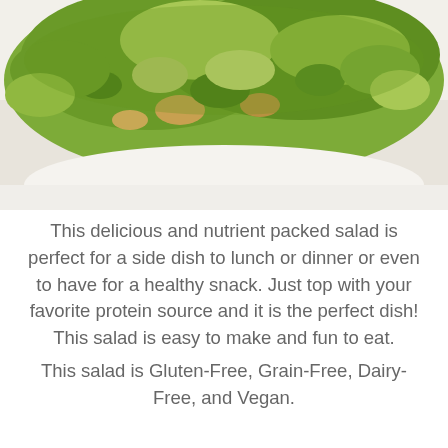[Figure (photo): Close-up photo of a green salad with chopped Brussels sprouts or similar leafy greens and other vegetables on a white plate]
This delicious and nutrient packed salad is perfect for a side dish to lunch or dinner or even to have for a healthy snack. Just top with your favorite protein source and it is the perfect dish! This salad is easy to make and fun to eat.
This salad is Gluten-Free, Grain-Free, Dairy-Free, and Vegan.